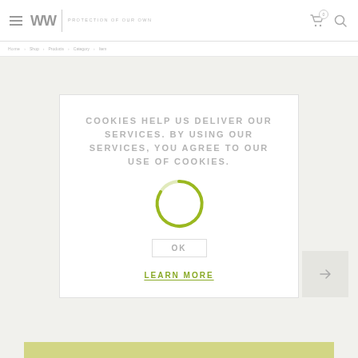[Figure (logo): WW logo with 'WOLF WEAR | PROTECTION OF OUR OWN' tagline, navigation icons for cart (0) and search]
[Figure (screenshot): Cookie consent modal overlay on e-commerce page with spinner animation, OK button, and LEARN MORE link]
COOKIES HELP US DELIVER OUR SERVICES. BY USING OUR SERVICES, YOU AGREE TO OUR USE OF COOKIES.
OK
LEARN MORE